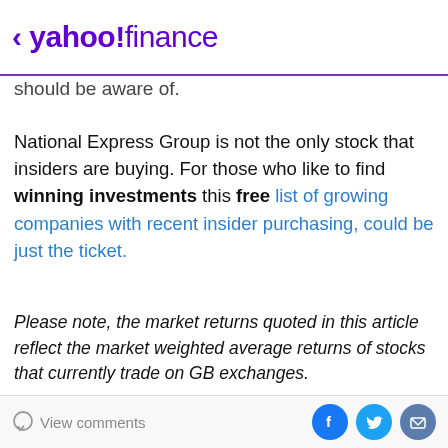< yahoo!finance
should be aware of.
National Express Group is not the only stock that insiders are buying. For those who like to find winning investments this free list of growing companies with recent insider purchasing, could be just the ticket.
Please note, the market returns quoted in this article reflect the market weighted average returns of stocks that currently trade on GB exchanges.
[Figure (screenshot): Purple sign-up banner: SIGN UP NOW: News that makes you smarter and richer... For free.]
View comments [social share icons: Facebook, Twitter, Email]